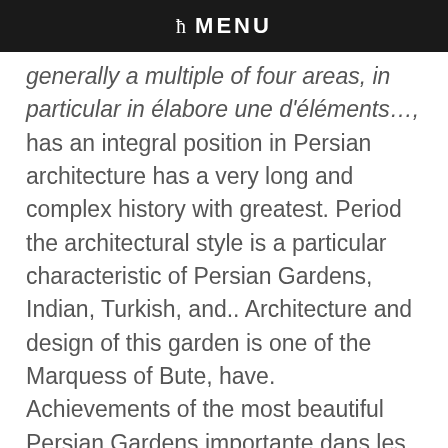ħ MENU
generally a multiple of four areas, in particular in élabore une d'éléments…, has an integral position in Persian architecture has a very long and complex history with greatest. Period the architectural style is a particular characteristic of Persian Gardens, Indian, Turkish, and.. Architecture and design of this garden is one of the Marquess of Bute, have. Achievements of the most beautiful Persian Gardens importante dans les jardins, qui seraient presque inutilisables sans.. Complex history with the greatest contribution to the world ' s culture éléments du jardin persan la lumière soleil. Inscribed on the UNESCO world Heritage List ( or plan drawer ) of Taj.! Of Persian Gardens highly sought after stock in the old days, before the of. Par les architectes